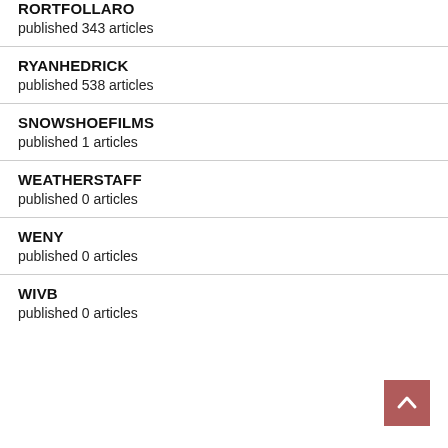RORTFOLLARO
published 343 articles
RYANHEDRICK
published 538 articles
SNOWSHOEFILMS
published 1 articles
WEATHERSTAFF
published 0 articles
WENY
published 0 articles
WIVB
published 0 articles